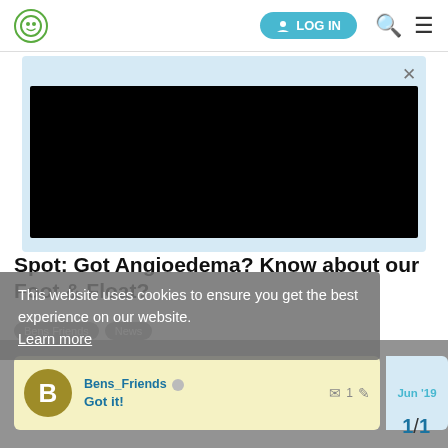LOG IN
[Figure (screenshot): Advertisement area with black image box and close button on light blue background]
Spot: Got Angioedema? Know about our Foot & Float?
This website uses cookies to ensure you get the best experience on our website.
Learn more
Bens_Friends | News
| User | Action | Meta | Date |
| --- | --- | --- | --- |
| Bens_Friends | Got it! | 1 | Jun '19 |
1/1